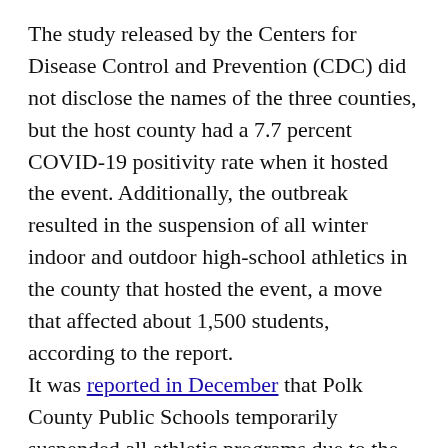The study released by the Centers for Disease Control and Prevention (CDC) did not disclose the names of the three counties, but the host county had a 7.7 percent COVID-19 positivity rate when it hosted the event. Additionally, the outbreak resulted in the suspension of all winter indoor and outdoor high-school athletics in the county that hosted the event, a move that affected about 1,500 students, according to the report.
It was reported in December that Polk County Public Schools temporarily suspended all athletic programs due to the coronavirus pandemic following a winter sports event.
According to the CDC report, the tournament on Dec. 4 and Dec. 5 was attended by 130 wrestlers, coaches, and referees. Public health officials first learned Dec. 7 that